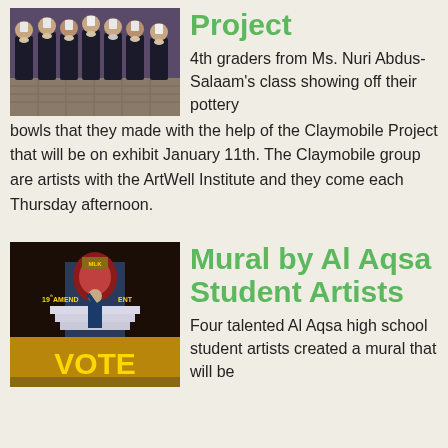[Figure (photo): Group of students in dark uniforms and white head coverings holding pottery bowls]
Project
4th graders from Ms. Nuri Abdus-Salaam's class showing off their pottery bowls that they made with the help of the Claymobile Project that will be on exhibit January 11th. The Claymobile group are artists with the ArtWell Institute and they come each Thursday afternoon.
[Figure (photo): Mural depicting MLK, 19th Amendment, and VOTE text with a student figure reaching up]
Mural by Al Aqsa Student Artists
Four talented Al Aqsa high school student artists created a mural that will be